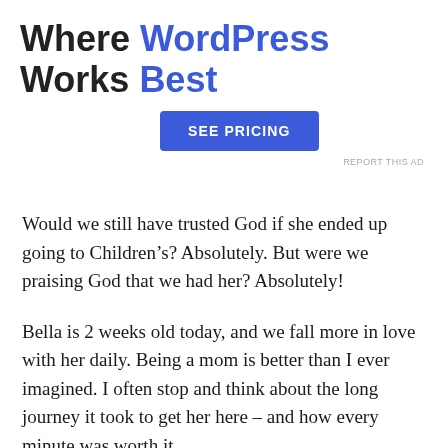Where WordPress Works Best
[Figure (other): Blue 'SEE PRICING' button advertisement for WordPress hosting]
REPORT THIS AD
Would we still have trusted God if she ended up going to Children’s? Absolutely. But were we praising God that we had her? Absolutely!
Bella is 2 weeks old today, and we fall more in love with her daily. Being a mom is better than I ever imagined. I often stop and think about the long journey it took to get her here – and how every minute was worth it.
And yeah, I take back what I said about not having any more kids.